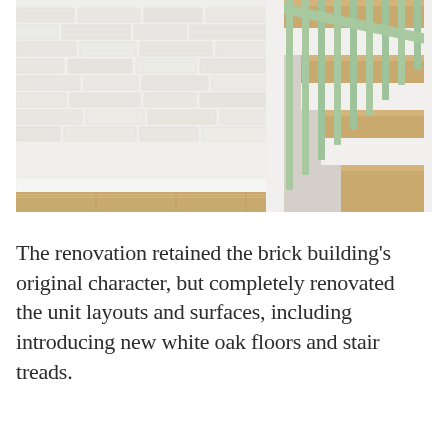[Figure (photo): Interior photo of a staircase renovation showing white-painted brick wall on the left, light mint green painted wooden stair railings and balusters on the right, and white oak wood floor and stair treads. The aesthetic is bright and modern.]
The renovation retained the brick building's original character, but completely renovated the unit layouts and surfaces, including introducing new white oak floors and stair treads.